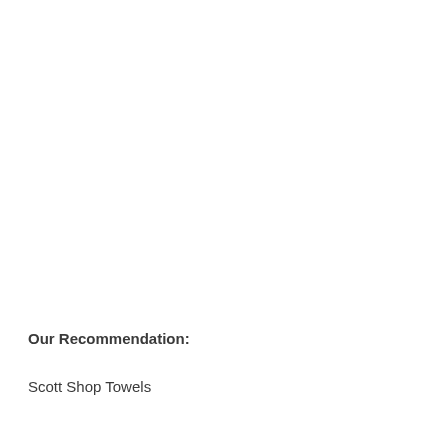Our Recommendation:
Scott Shop Towels